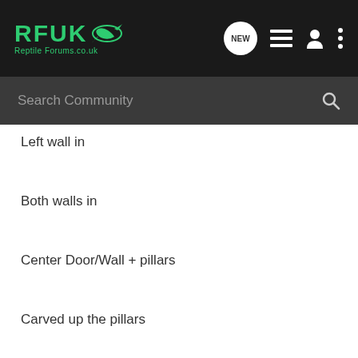RFUK Reptile Forums.co.uk
Left wall in
Both walls in
Center Door/Wall + pillars
Carved up the pillars